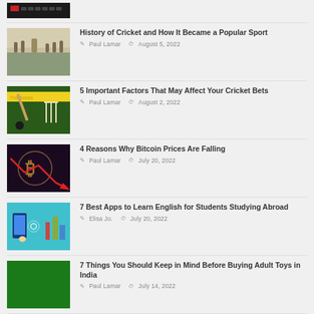[Figure (photo): Top partial thumbnail - dark/keyboard image cropped]
History of Cricket and How It Became a Popular Sport | Paul Lamar | August 5, 2022
[Figure (photo): Historical cricket painting thumbnail]
5 Important Factors That May Affect Your Cricket Bets | Paul Lamar | August 2, 2022
[Figure (photo): Cricket wickets on field thumbnail]
4 Reasons Why Bitcoin Prices Are Falling | Paul Lamar | July 20, 2022
[Figure (photo): Bitcoin symbol with red falling arrow thumbnail]
7 Best Apps to Learn English for Students Studying Abroad | Elisa Jo. | July 20, 2022
[Figure (photo): Apps illustration with phone and landmarks thumbnail]
7 Things You Should Keep in Mind Before Buying Adult Toys in India | Paul Lamar | July 14, 2022
[Figure (photo): Green background thumbnail]
Online Entertainment something... (partial, cut off)
[Figure (photo): Green thumbnail partial]